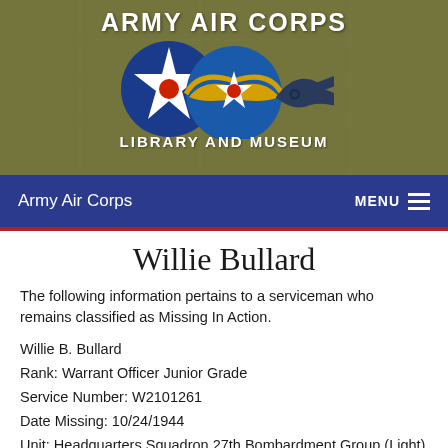[Figure (logo): Army Air Corps Library and Museum header banner with logos — star roundel, winged star, and USAF symbol on olive green background]
Army Air Corps    MENU
Willie Bullard
The following information pertains to a serviceman who remains classified as Missing In Action.
Willie B. Bullard
Rank: Warrant Officer Junior Grade
Service Number: W2101261
Date Missing: 10/24/1944
Unit: Headquarters Squadron 27th Bombardment Group (Light)
Branch of Service: U.S. Army Air Force